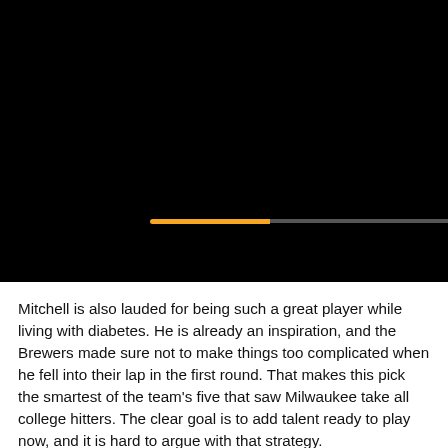[Figure (screenshot): Black video player area with a progress bar showing an orange filled portion on the left and a dark gray unfilled portion on the right, centered horizontally in the black area.]
Mitchell is also lauded for being such a great player while living with diabetes. He is already an inspiration, and the Brewers made sure not to make things too complicated when he fell into their lap in the first round. That makes this pick the smartest of the team's five that saw Milwaukee take all college hitters. The clear goal is to add talent ready to play now, and it is hard to argue with that strategy.